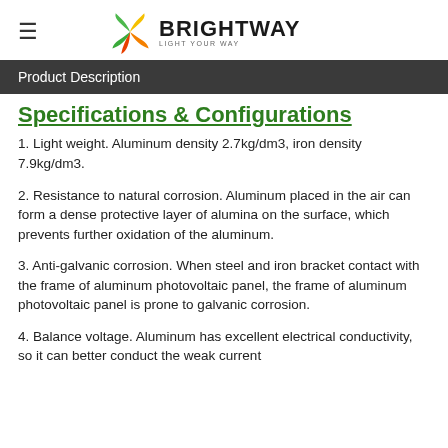≡ BRIGHTWAY LIGHT YOUR WAY
Product Description
Specifications & Configurations
1. Light weight. Aluminum density 2.7kg/dm3, iron density 7.9kg/dm3.
2. Resistance to natural corrosion. Aluminum placed in the air can form a dense protective layer of alumina on the surface, which prevents further oxidation of the aluminum.
3. Anti-galvanic corrosion. When steel and iron bracket contact with the frame of aluminum photovoltaic panel, the frame of aluminum photovoltaic panel is prone to galvanic corrosion.
4. Balance voltage. Aluminum has excellent electrical conductivity, so it can better conduct the weak current